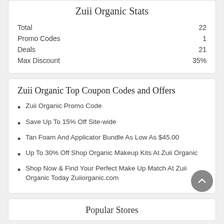Zuii Organic Stats
|  |  |
| --- | --- |
| Total | 22 |
| Promo Codes | 1 |
| Deals | 21 |
| Max Discount | 35% |
Zuii Organic Top Coupon Codes and Offers
Zuii Organic Promo Code
Save Up To 15% Off Site-wide
Tan Foam And Applicator Bundle As Low As $45.00
Up To 30% Off Shop Organic Makeup Kits At Zuii Organic
Shop Now & Find Your Perfect Make Up Match At Zuii Organic Today Zuiiorganic.com
Popular Stores